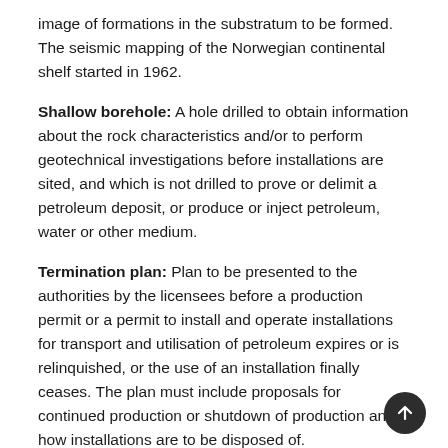image of formations in the substratum to be formed. The seismic mapping of the Norwegian continental shelf started in 1962.
Shallow borehole: A hole drilled to obtain information about the rock characteristics and/or to perform geotechnical investigations before installations are sited, and which is not drilled to prove or delimit a petroleum deposit, or produce or inject petroleum, water or other medium.
Termination plan: Plan to be presented to the authorities by the licensees before a production permit or a permit to install and operate installations for transport and utilisation of petroleum expires or is relinquished, or the use of an installation finally ceases. The plan must include proposals for continued production or shutdown of production and how installations are to be disposed of.
Undiscovered resources: Recoverable volumes of